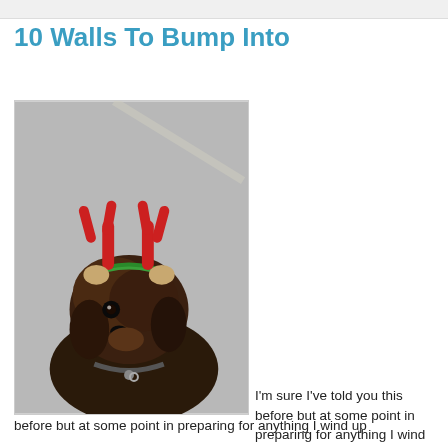10 Walls To Bump Into
[Figure (photo): A small dark-haired dog (Yorkie/mixed breed) wearing a green headband with red reindeer antlers and small tan ears attached, sitting on a grey pavement surface, looking up at the camera.]
I'm sure I've told you this before but at some point in preparing for anything I wind up